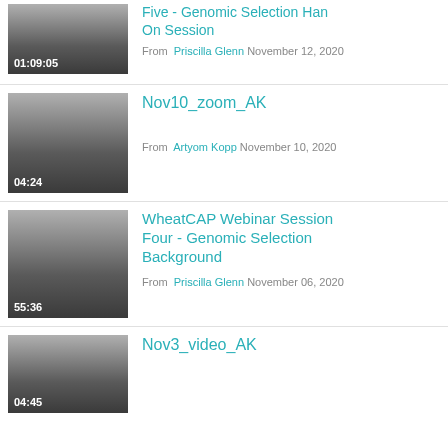[Figure (screenshot): Video thumbnail with duration 01:09:05, gradient gray background]
Five - Genomic Selection Hands On Session
From  Priscilla Glenn November 12, 2020
[Figure (screenshot): Video thumbnail with duration 04:24, gradient gray background]
Nov10_zoom_AK
From  Artyom Kopp November 10, 2020
[Figure (screenshot): Video thumbnail with duration 55:36, gradient gray background]
WheatCAP Webinar Session Four - Genomic Selection Background
From  Priscilla Glenn November 06, 2020
[Figure (screenshot): Video thumbnail with duration 04:45, gradient gray background]
Nov3_video_AK